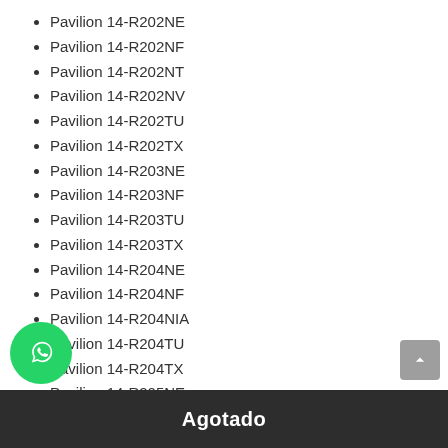Pavilion 14-R202NE
Pavilion 14-R202NF
Pavilion 14-R202NT
Pavilion 14-R202NV
Pavilion 14-R202TU
Pavilion 14-R202TX
Pavilion 14-R203NE
Pavilion 14-R203NF
Pavilion 14-R203TU
Pavilion 14-R203TX
Pavilion 14-R204NE
Pavilion 14-R204NF
Pavilion 14-R204NIA
Pavilion 14-R204TU
Pavilion 14-R204TX
Pavilion 14-R205NE
Agotado